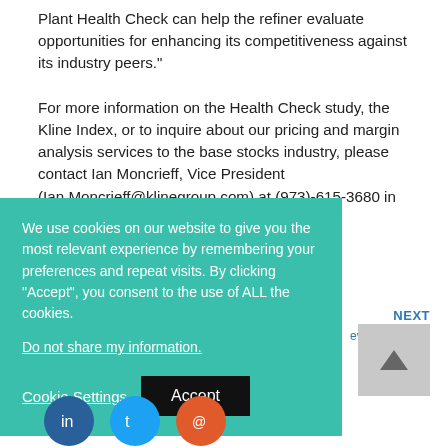Plant Health Check can help the refiner evaluate opportunities for enhancing its competitiveness against its industry peers."

For more information on the Health Check study, the Kline Index, or to inquire about our pricing and margin analysis services to the base stocks industry, please contact Ian Moncrieff, Vice President (Ian.Moncrieff@klinegroup.com) at (973)-615-3680 in
[Figure (other): Cookie consent overlay banner with teal background. Contains text: 'We use cookies on our website to give you the most relevant experience by remembering your preferences and repeat visits. By clicking "Accept", you consent to the use of ALL the cookies.' A 'Do not share my information.' link, and two buttons: 'Cookie Settings' and 'Accept'.]
NEXT
ev Up the ...